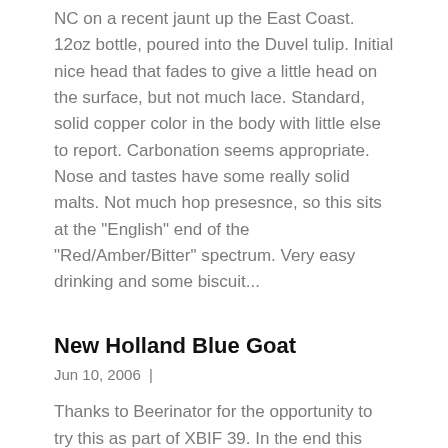NC on a recent jaunt up the East Coast. 12oz bottle, poured into the Duvel tulip. Initial nice head that fades to give a little head on the surface, but not much lace. Standard, solid copper color in the body with little else to report. Carbonation seems appropriate. Nose and tastes have some really solid malts. Not much hop presesnce, so this sits at the "English" end of the "Red/Amber/Bitter" spectrum. Very easy drinking and some biscuit...
New Holland Blue Goat
Jun 10, 2006 |
Thanks to Beerinator for the opportunity to try this as part of XBIF 39. In the end this was a somewhat disappointing Doppelbock. All the important charcteristics were there, but it left me feeling unsatisfied. Good looking dark mahogany pour, but the beer was a bit lifeless. Not much in the way of